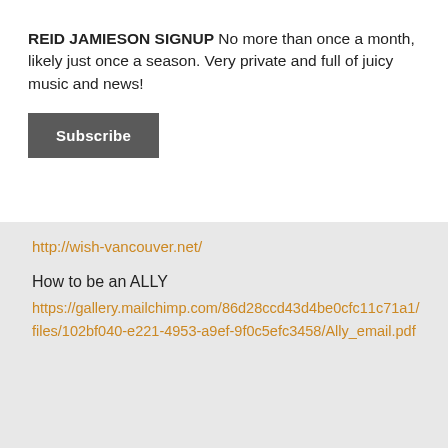REID JAMIESON SIGNUP No more than once a month, likely just once a season. Very private and full of juicy music and news!
Subscribe
http://wish-vancouver.net/
How to be an ALLY
https://gallery.mailchimp.com/86d28ccd43d4be0cfc11c71a1/files/102bf040-e221-4953-a9ef-9f0c5efc3458/Ally_email.pdf